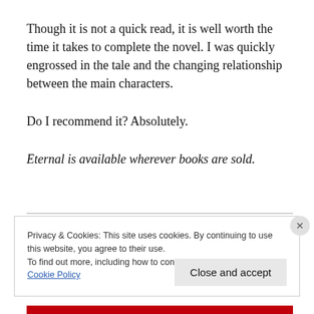Though it is not a quick read, it is well worth the time it takes to complete the novel. I was quickly engrossed in the tale and the changing relationship between the main characters.
Do I recommend it? Absolutely.
Eternal is available wherever books are sold.
Privacy & Cookies: This site uses cookies. By continuing to use this website, you agree to their use.
To find out more, including how to control cookies, see here: Cookie Policy
Close and accept